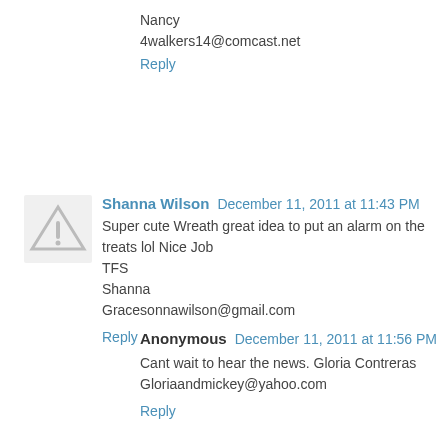Nancy
4walkers14@comcast.net
Reply
Shanna Wilson  December 11, 2011 at 11:43 PM
Super cute Wreath great idea to put an alarm on the treats lol Nice Job
TFS
Shanna
Gracesonnawilson@gmail.com
Reply
Anonymous  December 11, 2011 at 11:56 PM
Cant wait to hear the news. Gloria Contreras
Gloriaandmickey@yahoo.com
Reply